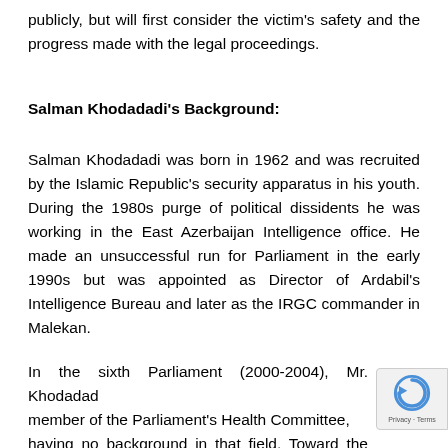publicly, but will first consider the victim's safety and the progress made with the legal proceedings.
Salman Khodadadi's Background:
Salman Khodadadi was born in 1962 and was recruited by the Islamic Republic's security apparatus in his youth. During the 1980s purge of political dissidents he was working in the East Azerbaijan Intelligence office. He made an unsuccessful run for Parliament in the early 1990s but was appointed as Director of Ardabil's Intelligence Bureau and later as the IRGC commander in Malekan.
In the sixth Parliament (2000-2004), Mr. Khodadadi was a member of the Parliament's Health Committee, despite having no background in that field. Toward the end of his